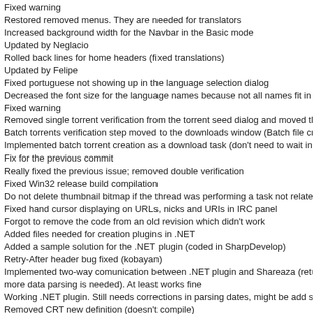Fixed warning
Restored removed menus. They are needed for translators
Increased background width for the Navbar in the Basic mode
Updated by Neglacio
Rolled back lines for home headers (fixed translations)
Updated by Felipe
Fixed portuguese not showing up in the language selection dialog
Decreased the font size for the language names because not all names fit in width
Fixed warning
Removed single torrent verification from the torrent seed dialog and moved the task t
Batch torrents verification step moved to the downloads window (Batch file creation s
Implemented batch torrent creation as a download task (don't need to wait in the See
Fix for the previous commit
Really fixed the previous issue; removed double verification
Fixed Win32 release build compilation
Do not delete thumbnail bitmap if the thread was performing a task not related to the
Fixed hand cursor displaying on URLs, nicks and URIs in IRC panel
Forgot to remove the code from an old revision which didn't work
Added files needed for creation plugins in .NET
Added a sample solution for the .NET plugin (coded in SharpDevelop)
Retry-After header bug fixed (kobayan)
Implemented two-way comunication between .NET plugin and Shareaza (returned X, more data parsing is needed). At least works fine
Working .NET plugin. Still needs corrections in parsing dates, might be add some mo
Removed CRT new definition (doesn't compile)
Disabled right-click menu in the search meta panel
whoops, restored deleted bracket by mistake
Don't overdraw rating icons/text with the file name
Added donation menu entry to the Help menu; Included webservices button in the Lib, implemented).
Updated english file for translations
Updated by Felipe
Added a dynamic Z-ordered bar for actions with ShareMonkey webservice
Added MusicBrainz toolbar to view album matches and all artist albums
Small fix for the previous commit (there's still a minor flickering glitch)
Fixed cleaning of metadata members (aka stupid memory leak)
Fixed transparency for flags
Fixed a crash in the skin installer